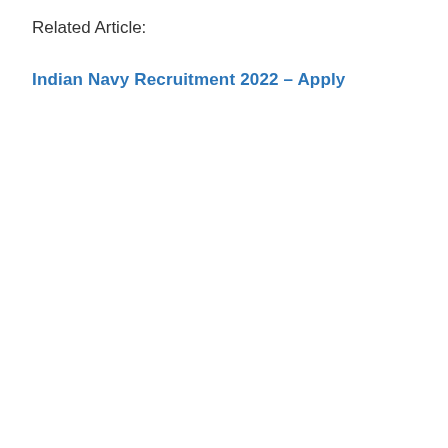Related Article:
Indian Navy Recruitment 2022 – Apply